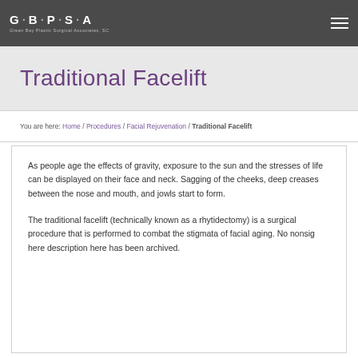G·B·P·S·A Green Bay Plastic Surgical Associates, SC
Traditional Facelift
You are here: Home / Procedures / Facial Rejuvenation / Traditional Facelift
As people age the effects of gravity, exposure to the sun and the stresses of life can be displayed on their face and neck. Sagging of the cheeks, deep creases between the nose and mouth, and jowls start to form.
The traditional facelift (technically known as a rhytidectomy) is a surgical procedure that is performed to combat the stigmata of facial aging. No nonsig here description here has been archived.